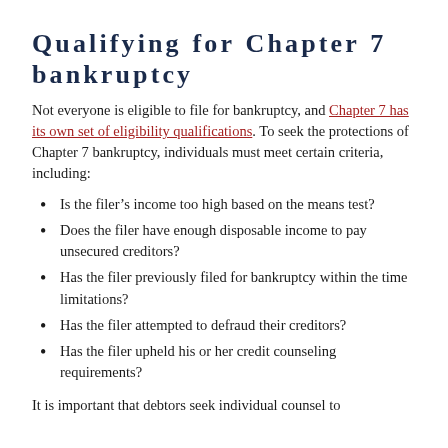Qualifying for Chapter 7 bankruptcy
Not everyone is eligible to file for bankruptcy, and Chapter 7 has its own set of eligibility qualifications. To seek the protections of Chapter 7 bankruptcy, individuals must meet certain criteria, including:
Is the filer’s income too high based on the means test?
Does the filer have enough disposable income to pay unsecured creditors?
Has the filer previously filed for bankruptcy within the time limitations?
Has the filer attempted to defraud their creditors?
Has the filer upheld his or her credit counseling requirements?
It is important that debtors seek individual counsel to